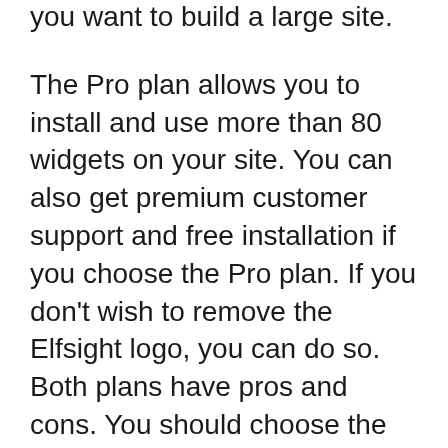you want to build a large site.
The Pro plan allows you to install and use more than 80 widgets on your site. You can also get premium customer support and free installation if you choose the Pro plan. If you don't wish to remove the Elfsight logo, you can do so. Both plans have pros and cons. You should choose the plan that suits you best. The Basic plan is best for beginners. However, it will limit you if your desire to add advanced features or functionality.
You can choose between the Pro and Free plans if you use Elfsight daily. The free plan is limited to 200 page views a month, and the feed will no longer work once you hit that limit. It will notify you via an email once